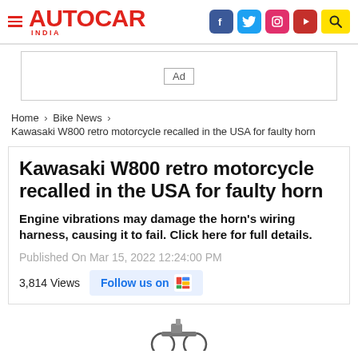AUTOCAR INDIA
[Figure (screenshot): Ad banner placeholder]
Home > Bike News >
Kawasaki W800 retro motorcycle recalled in the USA for faulty horn
Kawasaki W800 retro motorcycle recalled in the USA for faulty horn
Engine vibrations may damage the horn's wiring harness, causing it to fail. Click here for full details.
Published On Mar 15, 2022 12:24:00 PM
3,814 Views   Follow us on
[Figure (photo): Partial view of a motorcycle (Kawasaki W800) at bottom of page]